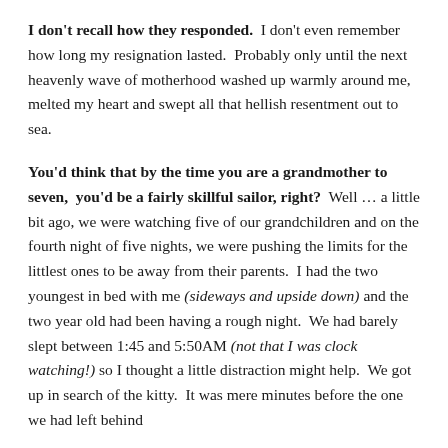I don't recall how they responded. I don't even remember how long my resignation lasted. Probably only until the next heavenly wave of motherhood washed up warmly around me, melted my heart and swept all that hellish resentment out to sea.
You'd think that by the time you are a grandmother to seven, you'd be a fairly skillful sailor, right? Well … a little bit ago, we were watching five of our grandchildren and on the fourth night of five nights, we were pushing the limits for the littlest ones to be away from their parents. I had the two youngest in bed with me (sideways and upside down) and the two year old had been having a rough night. We had barely slept between 1:45 and 5:50AM (not that I was clock watching!) so I thought a little distraction might help. We got up in search of the kitty. It was mere minutes before the one we had left behind